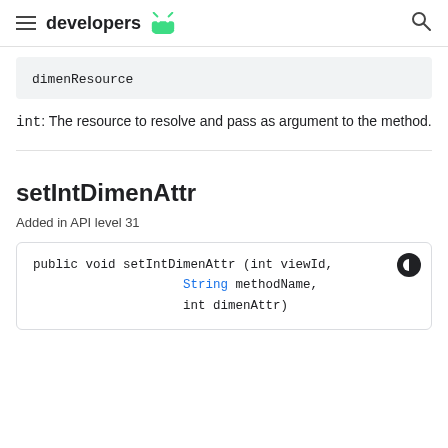developers
dimenResource
int: The resource to resolve and pass as argument to the method.
setIntDimenAttr
Added in API level 31
public void setIntDimenAttr (int viewId,
                    String methodName,
                    int dimenAttr)